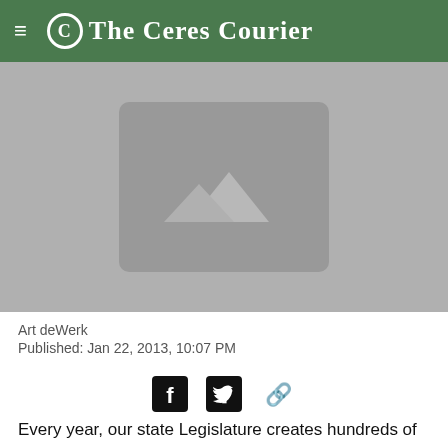C The Ceres Courier
[Figure (photo): Placeholder image with mountain silhouette icon on grey background]
Art deWerk
Published: Jan 22, 2013, 10:07 PM
[Figure (infographic): Social share icons: Facebook, Twitter, link/chain icon]
Every year, our state Legislature creates hundreds of new laws, most of which affect only small segments of the population, counties, cities, and the state budget. Some examples are special